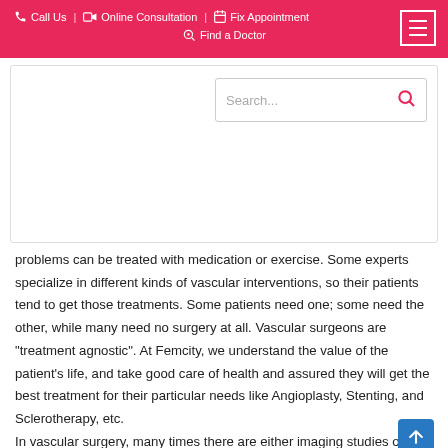Call Us | Online Consultation | Fix Appointment | Find a Doctor
[Figure (screenshot): Website search bar and white content area with search input field]
problems can be treated with medication or exercise. Some experts specialize in different kinds of vascular interventions, so their patients tend to get those treatments. Some patients need one; some need the other, while many need no surgery at all. Vascular surgeons are “treatment agnostic”. At Femcity, we understand the value of the patient’s life, and take good care of health and assured they will get the best treatment for their particular needs like Angioplasty, Stenting, and Sclerotherapy, etc. In vascular surgery, many times there are either imaging studies or